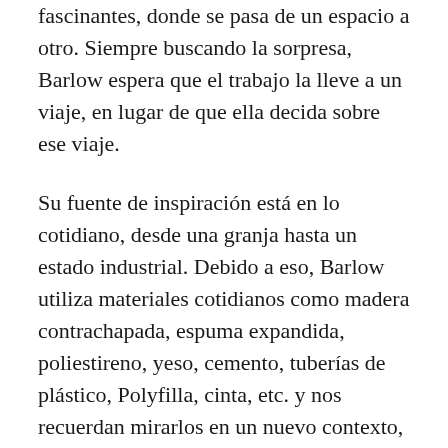fascinantes, donde se pasa de un espacio a otro. Siempre buscando la sorpresa, Barlow espera que el trabajo la lleve a un viaje, en lugar de que ella decida sobre ese viaje.
Su fuente de inspiración está en lo cotidiano, desde una granja hasta un estado industrial. Debido a eso, Barlow utiliza materiales cotidianos como madera contrachapada, espuma expandida, poliestireno, yeso, cemento, tuberías de plástico, Polyfilla, cinta, etc. y nos recuerdan mirarlos en un nuevo contexto, con una nueva luz. Son tan comunes en nuestro mundo que hemos dejado de verlos.
Barlow estudió en el Chelsea College of Art (1960 – 1963) y en la Slade School of Art (196…